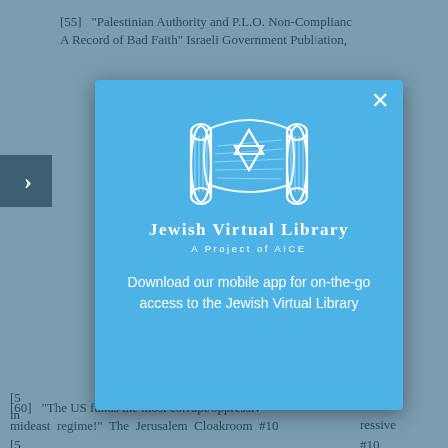[55]  "Palestinian Authority and P.L.O. Non-Compliance A Record of Bad Faith" Israeli Government Publication,
nomy Fr... policies M...
[5...] ...rfeiting in... 4, 200...
[5...] ...rfeiting in... 4, 200...
[5...] ...ressive m... #10... w...
[60]  "The US funds the most corrupt/oppressive mideast regime!" The Jerusalem Cloakroom #10
[Figure (logo): Jewish Virtual Library logo: a Torah scroll with Star of David, text 'Jewish Virtual Library - A Project of AICE', with a modal popup overlay on a blue background. Modal contains download prompt: 'Download our mobile app for on-the-go access to the Jewish Virtual Library']